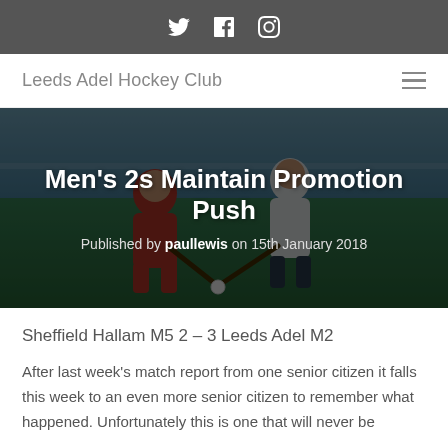Twitter Facebook Instagram (social icons)
Leeds Adel Hockey Club
[Figure (photo): Two field hockey players competing for the ball on an artificial pitch, one in red and one in white uniform]
Men's 2s Maintain Promotion Push
Published by paullewis on 15th January 2018
Sheffield Hallam M5 2 – 3 Leeds Adel M2
After last week's match report from one senior citizen it falls this week to an even more senior citizen to remember what happened. Unfortunately this is one that will never be forgotten by those who were there.